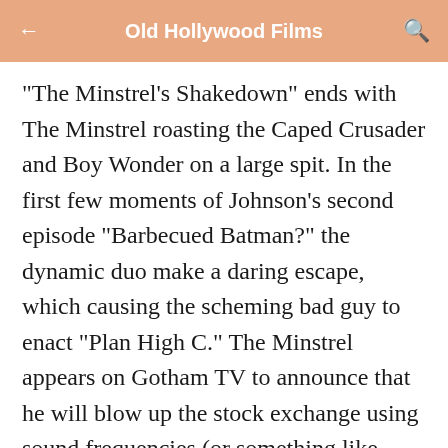Old Hollywood Films
"The Minstrel's Shakedown" ends with The Minstrel roasting the Caped Crusader and Boy Wonder on a large spit. In the first few moments of Johnson's second episode "Barbecued Batman?" the dynamic duo make a daring escape, which causing the scheming bad guy to enact "Plan High C." The Minstrel appears on Gotham TV to announce that he will blow up the stock exchange using sound frequencies (or something like that) unless he gets the cold, hard cash by 6 pm. This new turn of events causes Commissioner Gordon to once again pick up the phone for help